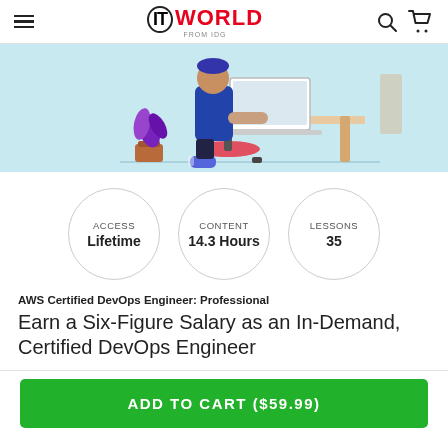IT WORLD FROM IDG
[Figure (illustration): Illustration of a person sitting at a desk working on a laptop, with a plant nearby, light blue background.]
[Figure (infographic): Three circle badges showing: ACCESS Lifetime, CONTENT 14.3 Hours, LESSONS 35]
AWS Certified DevOps Engineer: Professional
Earn a Six-Figure Salary as an In-Demand, Certified DevOps Engineer
ADD TO CART ($59.99)